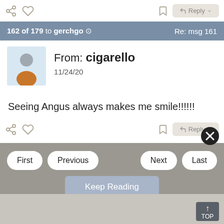[Figure (screenshot): Top action bar with share icon, heart icon, bookmark icon, and Reply button]
162 of 179 to gerchgo ⊙   Re: msg 161
From: cigarello
11/24/20
Seeing Angus always makes me smile!!!!!!
[Figure (screenshot): Bottom action bar with share, heart, bookmark, and Reply button]
First   Previous   Next   Last
Keep Reading